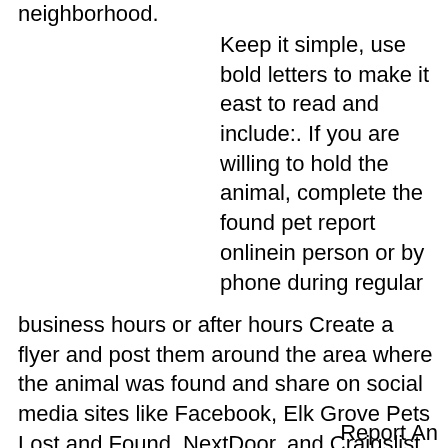neighborhood.
Keep it simple, use bold letters to make it east to read and include:. If you are willing to hold the animal, complete the found pet report onlinein person or by phone during regular business hours or after hours Create a flyer and post them around the area where the animal was found and share on social media sites like Facebook, Elk Grove Pets Lost and Found, NextDoor, and Craigslist.
Report An